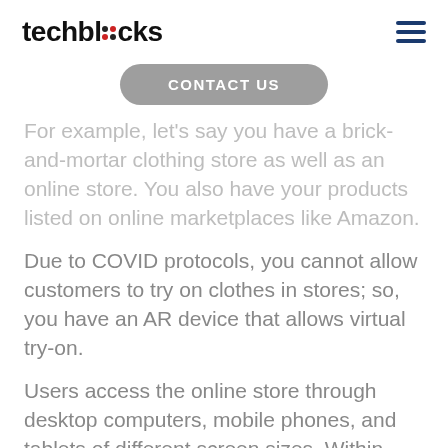techblocks
[Figure (other): CONTACT US button]
For example, let's say you have a brick-and-mortar clothing store as well as an online store. You also have your products listed on online marketplaces like Amazon.
Due to COVID protocols, you cannot allow customers to try on clothes in stores; so, you have an AR device that allows virtual try-on.
Users access the online store through desktop computers, mobile phones, and tablets of different screen sizes. Within those devices, the user may access the